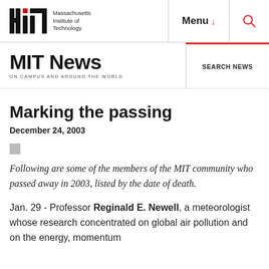Massachusetts Institute of Technology | Menu | Search
MIT News ON CAMPUS AND AROUND THE WORLD | SEARCH NEWS
Marking the passing
December 24, 2003
Following are some of the members of the MIT community who passed away in 2003, listed by the date of death.
Jan. 29 - Professor Reginald E. Newell, a meteorologist whose research concentrated on global air pollution and on the energy, momentum